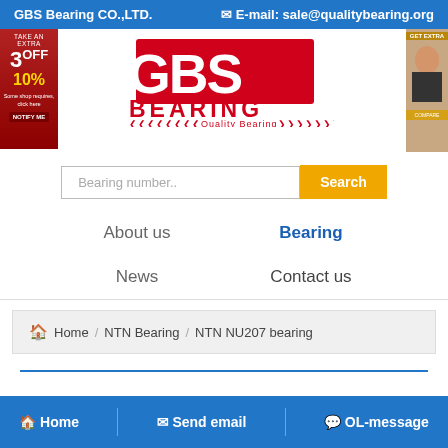GBS Bearing CO.,LTD.   ✉ E-mail: sale@qualitybearing.org
[Figure (logo): GBS BEARING logo with red block letters and Quality Bearing tagline with decorative arrows]
[Figure (other): Search bar with placeholder 'Bearing number..' and orange Search button]
About us
Bearing
News
Contact us
Home / NTN Bearing / NTN NU207 bearing
Home   Send email   OL-message